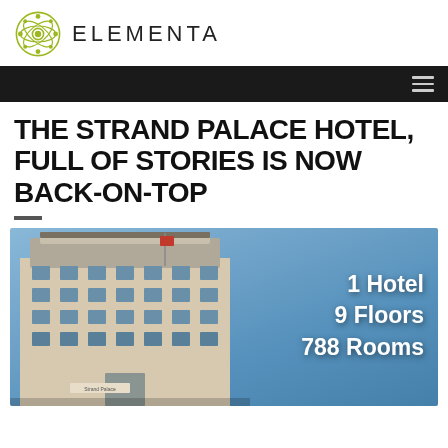ELEMENTA
THE STRAND PALACE HOTEL, FULL OF STORIES IS NOW BACK-ON-TOP
[Figure (photo): Photograph of the Strand Palace Hotel building exterior with overlaid text: '1 Hotel 9 Floors 788 Rooms']